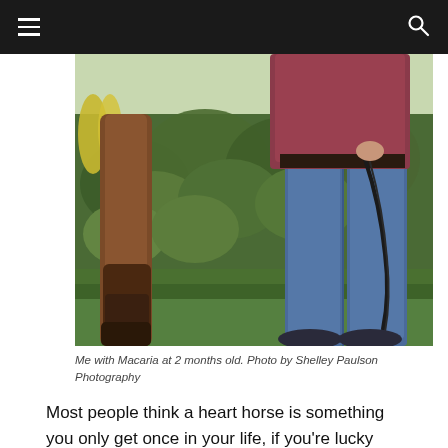[Figure (photo): A horse leg and a person standing in jeans and a burgundy top on green grass with large leafy plants in the background. The person holds a dark lead rope.]
Me with Macaria at 2 months old. Photo by Shelley Paulson Photography
Most people think a heart horse is something you only get once in your life, if you're lucky enough to have one. But I